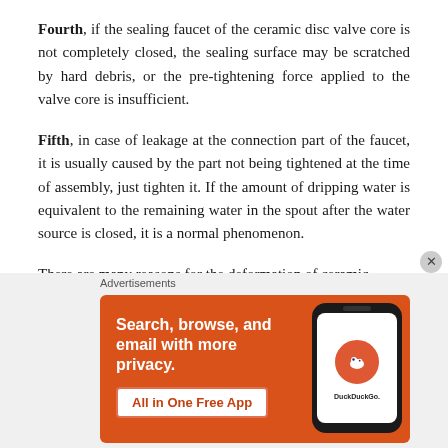Fourth, if the sealing faucet of the ceramic disc valve core is not completely closed, the sealing surface may be scratched by hard debris, or the pre-tightening force applied to the valve core is insufficient.
Fifth, in case of leakage at the connection part of the faucet, it is usually caused by the part not being tightened at the time of assembly, just tighten it. If the amount of dripping water is equivalent to the remaining water in the spout after the water source is closed, it is a normal phenomenon.
There are many reasons for the deformation of ceramic
[Figure (other): DuckDuckGo advertisement banner with orange background. Text reads: 'Search, browse, and email with more privacy. All in One Free App' with a phone displaying the DuckDuckGo logo.]